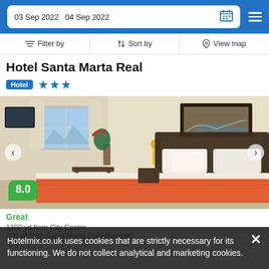03 Sep 2022   04 Sep 2022
Filter by   Sort by   View map
Hotel Santa Marta Real
Hotel ★★★
[Figure (photo): Hotel room with double bed with orange/red bedspread, dark wood furniture, framed painting on wall, night stands with lamps, window with mountain view]
8.0
Great
Hotelmix.co.uk uses cookies that are strictly necessary for its functioning. We do not collect analytical and marketing cookies.
1100 yd from City Centre
100 yd from Santa Marta Gold Museum